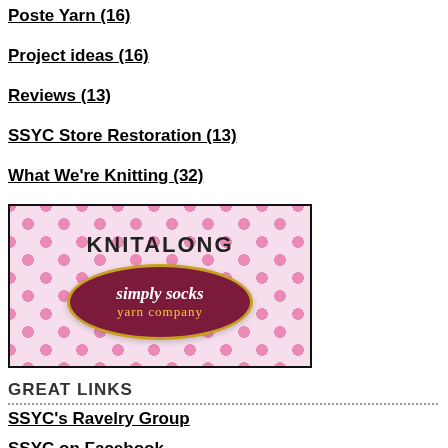Poste Yarn (16)
Project ideas (16)
Reviews (13)
SSYC Store Restoration (13)
What We're Knitting (32)
[Figure (logo): KNITALONG simply socks yarn company banner with pink polka dot background and maroon oval logo]
GREAT LINKS
SSYC's Ravelry Group
SSYC on Facebook
SSYC on Instagram
Ravelry
Simply Socks Yarn
If you see this post a few months/years a... skeins look like, always go by what our v... for the hand dyed skeins we actually hav...
009 Polar Morn
[Figure (photo): A skein of yarn labeled 009 Polar Morn, showing a dark patterned skein]